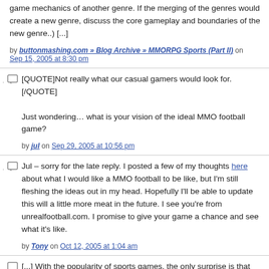game mechanics of another genre. If the merging of the genres would create a new genre, discuss the core gameplay and boundaries of the new genre..) [...]
by buttonmashing.com » Blog Archive » MMORPG Sports (Part II) on Sep 15, 2005 at 8:30 pm
[QUOTE]Not really what our casual gamers would look for.[/QUOTE]

Just wondering… what is your vision of the ideal MMO football game?
by jul on Sep 29, 2005 at 10:56 pm
Jul – sorry for the late reply. I posted a few of my thoughts here about what I would like a MMO football to be like, but I'm still fleshing the ideas out in my head. Hopefully I'll be able to update this will a little more meat in the future. I see you're from unrealfootball.com. I promise to give your game a chance and see what it's like.
by Tony on Oct 12, 2005 at 1:04 am
[...] With the popularity of sports games, the only surprise is that MMOSports games aren't already a norm. But, MMOSports games are on the way. (Tony over at Buttonmashing.com has a pretty good roundup of plenty of them last week, too.) Everyone knew they'd happen eventually. It's a no brainer really. Sports games sell well. MMOs offer continuous income. So MMOSports games should offer a lot of cash. But what are MMOSports games? [...]
by MMOSports...